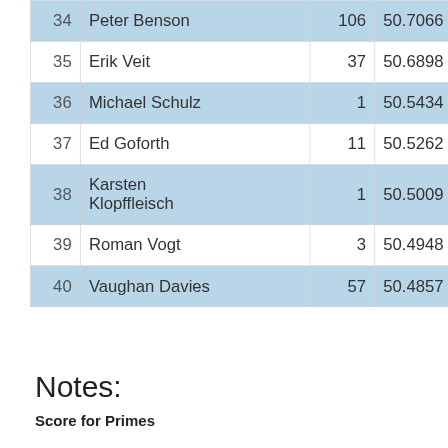|  | Name |  | Score |
| --- | --- | --- | --- |
| 34 | Peter Benson | 106 | 50.7066 |
| 35 | Erik Veit | 37 | 50.6898 |
| 36 | Michael Schulz | 1 | 50.5434 |
| 37 | Ed Goforth | 11 | 50.5262 |
| 38 | Karsten Klopffleisch | 1 | 50.5009 |
| 39 | Roman Vogt | 3 | 50.4948 |
| 40 | Vaughan Davies | 57 | 50.4857 |
MOVE DOWN LIST ↓
Notes:
Score for Primes